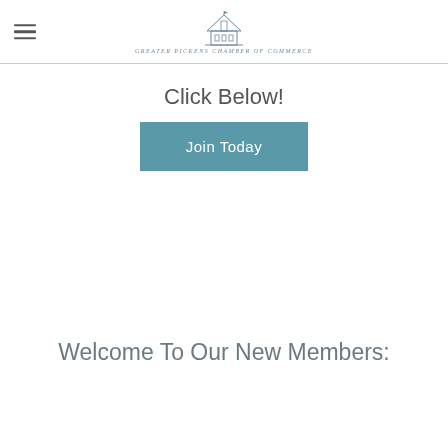Greater Pickens Chamber of Commerce
Click Below!
[Figure (illustration): Teal button labeled 'Join Today']
Welcome To Our New Members: